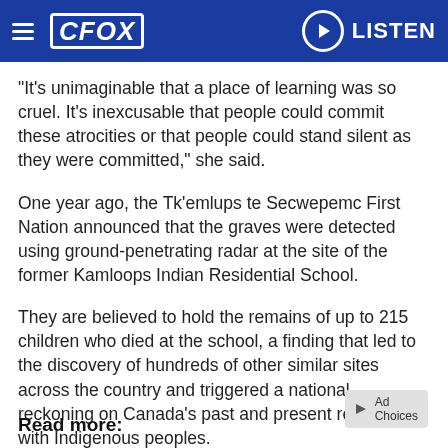CFOX | LISTEN
"It's unimaginable that a place of learning was so cruel. It's inexcusable that people could commit these atrocities or that people could stand silent as they were committed," she said.
One year ago, the Tk'emlups te Secwepemc First Nation announced that the graves were detected using ground-penetrating radar at the site of the former Kamloops Indian Residential School.
They are believed to hold the remains of up to 215 children who died at the school, a finding that led to the discovery of hundreds of other similar sites across the country and triggered a national reckoning on Canada's past and present relationship with Indigenous peoples.
Read more: